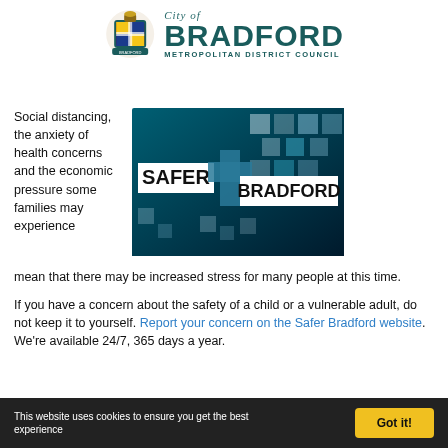[Figure (logo): City of Bradford Metropolitan District Council coat of arms logo with crest and council name in teal]
Social distancing, the anxiety of health concerns and the economic pressure some families may experience mean that there may be increased stress for many people at this time.
[Figure (illustration): Safer Bradford logo banner on dark teal/blue background with white squares pattern. Text reads SAFER and BRADFORD in bold black on white rectangles.]
If you have a concern about the safety of a child or a vulnerable adult, do not keep it to yourself. Report your concern on the Safer Bradford website. We're available 24/7, 365 days a year.
This website uses cookies to ensure you get the best experience